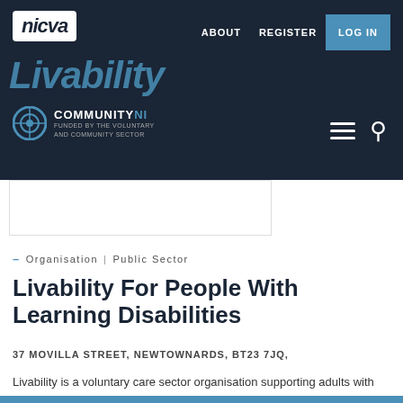nicva | ABOUT  REGISTER  LOG IN
[Figure (logo): NICVA logo with white background and CommunityNI logo below on dark header bar]
– Organisation | Public Sector
Livability For People With Learning Disabilities
37 MOVILLA STREET, NEWTOWNARDS, BT23 7JQ,
Livability is a voluntary care sector organisation supporting adults with learning disabilities in the community.
Livability [nid:53712]